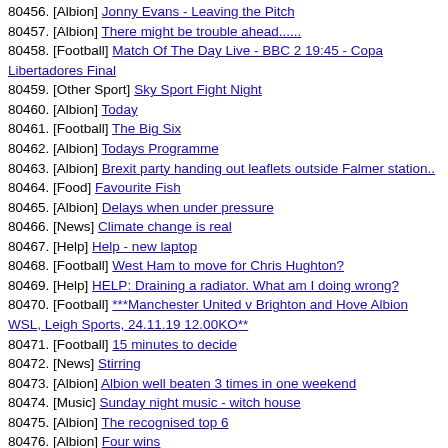80456. [Albion] Jonny Evans - Leaving the Pitch
80457. [Albion] There might be trouble ahead......
80458. [Football] Match Of The Day Live - BBC 2 19:45 - Copa Libertadores Final
80459. [Other Sport] Sky Sport Fight Night
80460. [Albion] Today
80461. [Football] The Big Six
80462. [Albion] Todays Programme
80463. [Albion] Brexit party handing out leaflets outside Falmer station..
80464. [Food] Favourite Fish
80465. [Albion] Delays when under pressure
80466. [News] Climate change is real
80467. [Help] Help - new laptop
80468. [Football] West Ham to move for Chris Hughton?
80469. [Help] HELP: Draining a radiator. What am I doing wrong?
80470. [Football] ***Manchester United v Brighton and Hove Albion WSL, Leigh Sports, 24.11.19 12.00KO**
80471. [Football] 15 minutes to decide
80472. [News] Stirring
80473. [Albion] Albion well beaten 3 times in one weekend
80474. [Music] Sunday night music - witch house
80475. [Albion] The recognised top 6
80476. [Albion] Four wins
80477. [Help] Cast Iron Bath - repairs and re-enameling
80478. [Albion] The origins of "Youuuuuuuure s*** aahhhhh"
80479. [Drinking] Victoria Pub Advice
80480. [Help] Work experience - carpenter
80481. [Food] Vermin!